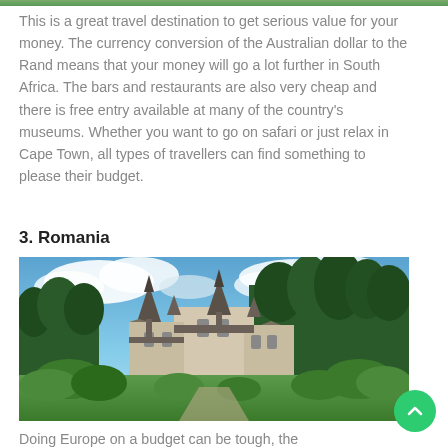[Figure (photo): Partial top strip of an outdoor/nature photo visible at top of page]
This is a great travel destination to get serious value for your money. The currency conversion of the Australian dollar to the Rand means that your money will go a lot further in South Africa. The bars and restaurants are also very cheap and there is free entry available at many of the country's museums. Whether you want to go on safari or just relax in Cape Town, all types of travellers can find something to please their budget.
3. Romania
[Figure (photo): Photo of a Romanian castle (Peles Castle) with spires surrounded by green pine trees and a cloudy blue sky]
Doing Europe on a budget can be tough, the